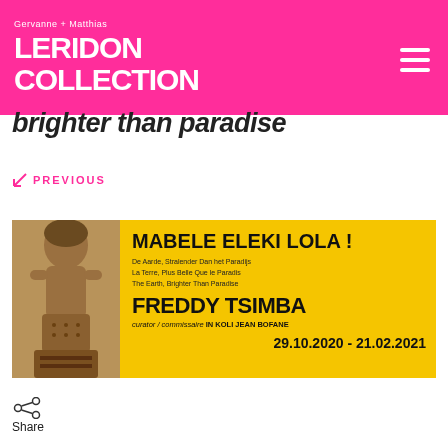Gervanne + Matthias LERIDON COLLECTION
brighter than paradise
← PREVIOUS
[Figure (illustration): Exhibition promotional banner on yellow background featuring an African statue/sculpture on the left, and text: MABELE ELEKI LOLA ! / De aarde, stralender dan het paradijs / La terre, plus belle que le paradis / The earth, brighter than paradise / FREDDY TSIMBA / curator / commissaire IN KOLI JEAN BOFANE / 29.10.2020 - 21.02.2021]
Share